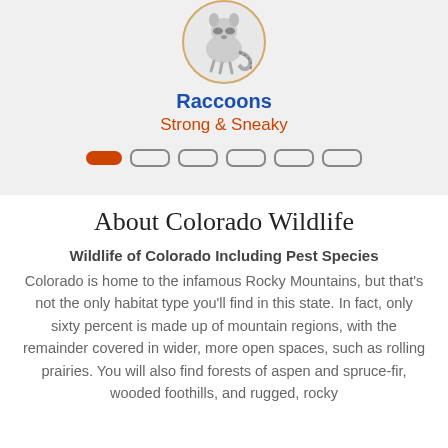[Figure (illustration): A circular illustrated image of a raccoon on a light grey background with a tan/gold border]
Raccoons
Strong & Sneaky
[Figure (infographic): Pagination indicator: one filled red-orange pill and five empty outlined pills in a row]
About Colorado Wildlife
Wildlife of Colorado Including Pest Species
Colorado is home to the infamous Rocky Mountains, but that's not the only habitat type you'll find in this state. In fact, only sixty percent is made up of mountain regions, with the remainder covered in wider, more open spaces, such as rolling prairies. You will also find forests of aspen and spruce-fir, wooded foothills, and rugged, rocky